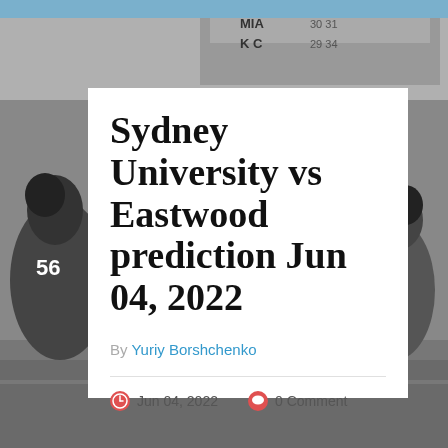[Figure (photo): Black and white photograph of American football players in action on the field, with scoreboard visible in background showing MIA and KC. Used as background image for the article card.]
Sydney University vs Eastwood prediction Jun 04, 2022
By Yuriy Borshchenko
Jun 04, 2022   0 Comment